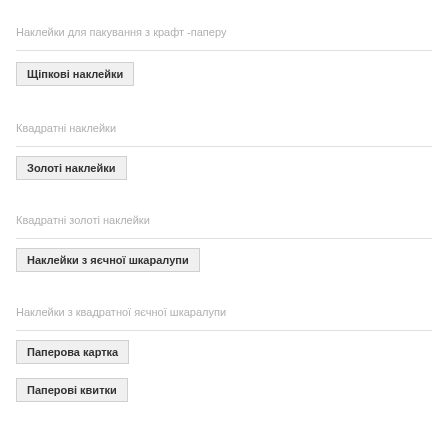Наклейки для пакування з крафт -паперу
Щіпкові наклейки
Квадратні наклейки
Золоті наклейки
Квадратні золоті наклейки
Наклейки з яєчної шкаралупи
Наклейки з квадратної яєчної шкаралупи
Паперова картка
Паперові квитки